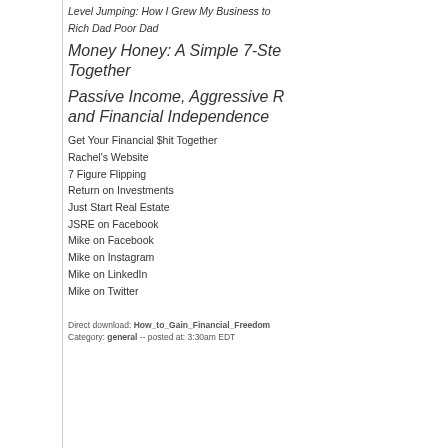Level Jumping: How I Grew My Business to
Rich Dad Poor Dad
Money Honey: A Simple 7-Ste... Together
Passive Income, Aggressive R... and Financial Independence...
Get Your Financial $hit Together
Rachel's Website
7 Figure Flipping
Return on Investments
Just Start Real Estate
JSRE on Facebook
Mike on Facebook
Mike on Instagram
Mike on LinkedIn
Mike on Twitter
Direct download: How_to_Gain_Financial_Freedom... Category: general -- posted at: 3:30am EDT